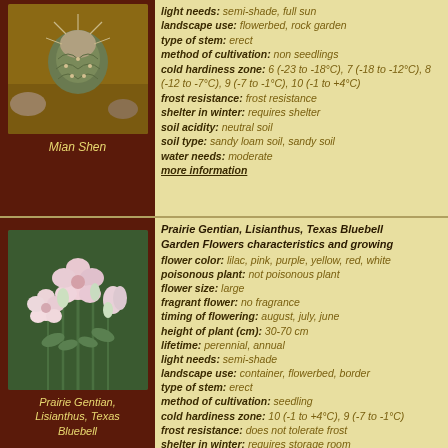[Figure (photo): Close-up photo of Mian Shen cactus plant with round spiny body]
Mian Shen
light needs: semi-shade, full sun
landscape use: flowerbed, rock garden
type of stem: erect
method of cultivation: non seedlings
cold hardiness zone: 6 (-23 to -18°C), 7 (-18 to -12°C), 8 (-12 to -7°C), 9 (-7 to -1°C), 10 (-1 to +4°C)
frost resistance: frost resistance
shelter in winter: requires shelter
soil acidity: neutral soil
soil type: sandy loam soil, sandy soil
water needs: moderate
more information
[Figure (photo): Photo of Prairie Gentian, Lisianthus, Texas Bluebell flowers with pink and white blooms]
Prairie Gentian, Lisianthus, Texas Bluebell
Prairie Gentian, Lisianthus, Texas Bluebell Garden Flowers characteristics and growing
flower color: lilac, pink, purple, yellow, red, white
poisonous plant: not poisonous plant
flower size: large
fragrant flower: no fragrance
timing of flowering: august, july, june
height of plant (cm): 30-70 cm
lifetime: perennial, annual
light needs: semi-shade
landscape use: container, flowerbed, border
type of stem: erect
method of cultivation: seedling
cold hardiness zone: 10 (-1 to +4°C), 9 (-7 to -1°C)
frost resistance: does not tolerate frost
shelter in winter: requires storage room
soil acidity: neutral soil